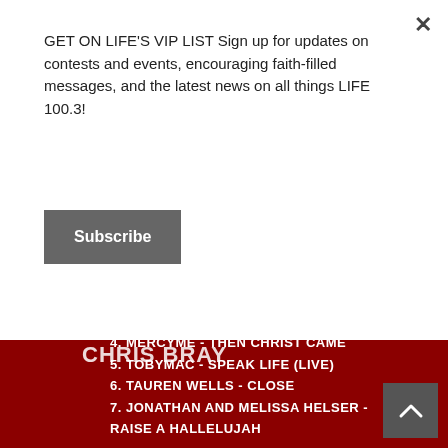GET ON LIFE'S VIP LIST Sign up for updates on contests and events, encouraging faith-filled messages, and the latest news on all things LIFE 100.3!
Subscribe
CHRIS BRAY
Live Playlist
1. CHRIS BRAY - I AM STRONG
2. JASMINE MURRAY - FEARLESS
3. SWITCH - LIFELINE
4. MERCYME - THEN CHRIST CAME
5. TOBYMAC - SPEAK LIFE (LIVE)
6. TAUREN WELLS - CLOSE
7. JONATHAN AND MELISSA HELSER - RAISE A HALLELUJAH